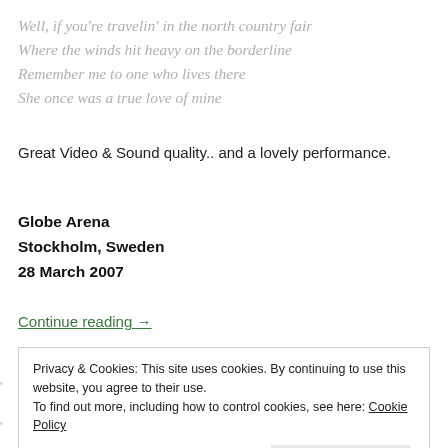Well, if you're travelin' in the north country fair
Where the winds hit heavy on the borderline
Remember me to one who lives there
She once was a true love of mine
Great Video & Sound quality.. and a lovely performance.
Globe Arena
Stockholm, Sweden
28 March 2007
Continue reading →
Privacy & Cookies: This site uses cookies. By continuing to use this website, you agree to their use.
To find out more, including how to control cookies, see here: Cookie Policy
Close and accept